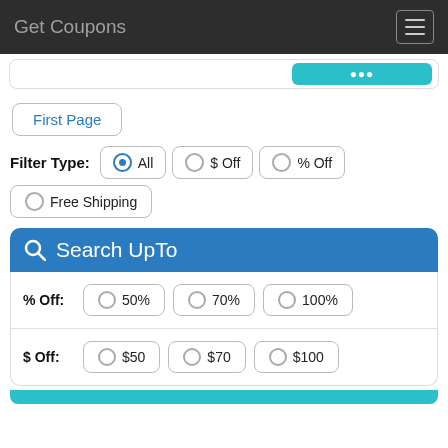Get Coupons
[Figure (screenshot): Teal search/filter button partially visible at top]
First Page
Filter Type: All  $ Off  % Off  Free Shipping
Search UpTo
% Off: 50%  70%  100%
$ Off: $50  $70  $100